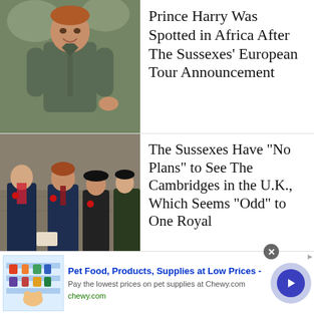[Figure (photo): Prince Harry standing outdoors in a grey shirt, smiling]
Prince Harry Was Spotted in Africa After The Sussexes' European Tour Announcement
[Figure (photo): Group photo of Prince William, Prince Harry, Meghan Markle and Kate Middleton standing together wearing poppies]
The Sussexes Have "No Plans" to See The Cambridges in the U.K., Which Seems "Odd" to One Royal
[Figure (advertisement): Chewy.com ad: Pet Food, Products, Supplies at Low Prices]